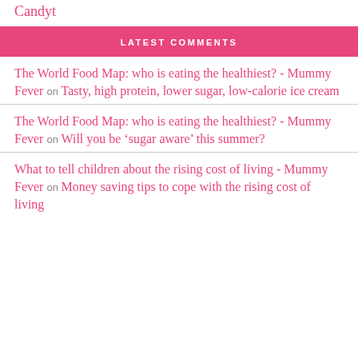Candyt
LATEST COMMENTS
The World Food Map: who is eating the healthiest? - Mummy Fever on Tasty, high protein, lower sugar, low-calorie ice cream
The World Food Map: who is eating the healthiest? - Mummy Fever on Will you be ‘sugar aware’ this summer?
What to tell children about the rising cost of living - Mummy Fever on Money saving tips to cope with the rising cost of living